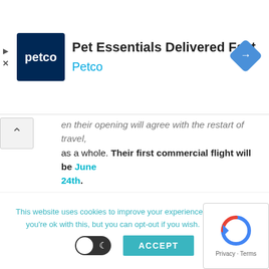[Figure (screenshot): Petco advertisement banner with blue square logo reading 'petco', headline 'Pet Essentials Delivered Fast', brand name 'Petco' in blue, and a blue diamond navigation icon on the right. Play and X icons on the left edge.]
en their opening will agree with the restart of travel, as a whole. Their first commercial flight will be June 24th.
Source
[Figure (screenshot): A bordered teal/light blue box showing a faint person silhouette placeholder image for a source]
This website uses cookies to improve your experience. We'll assume you're ok with this, but you can opt-out if you wish.  Cookie se
[Figure (screenshot): Cookie consent banner with toggle switch (dark mode toggle showing moon icon) and ACCEPT button in teal, plus Cookie settings link partially visible]
[Figure (logo): Google reCAPTCHA badge with blue circular arrow icon, showing Privacy - Terms links]